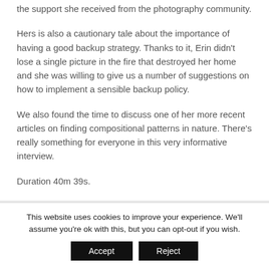the support she received from the photography community.
Hers is also a cautionary tale about the importance of having a good backup strategy. Thanks to it, Erin didn't lose a single picture in the fire that destroyed her home and she was willing to give us a number of suggestions on how to implement a sensible backup policy.
We also found the time to discuss one of her more recent articles on finding compositional patterns in nature. There's really something for everyone in this very informative interview.
Duration 40m 39s.
This website uses cookies to improve your experience. We'll assume you're ok with this, but you can opt-out if you wish.